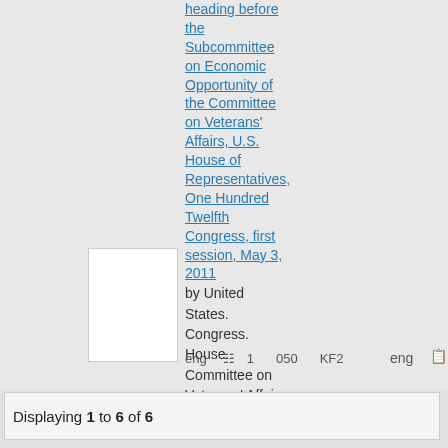hearing before the Subcommittee on Economic Opportunity of the Committee on Veterans' Affairs, U.S. House of Representatives, One Hundred Twelfth Congress, first session, May 3, 2011
[Figure (other): White thumbnail image placeholder for a document]
by United States. Congress. House. Committee on Veterans' Affairs. Subcommittee on Economic Opportunity
eng  [table icon]  1  050  KF2
Displaying 1 to 6 of 6